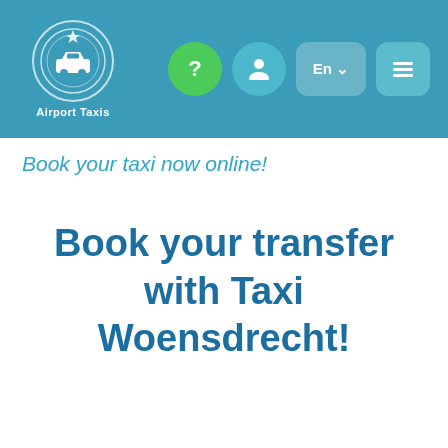[Figure (logo): Airport Taxis logo: white circular laurel wreath with taxi icon, text 'Airport Taxis' below, on teal navigation bar with green question mark button, teal person icon button, En language selector, and hamburger menu button]
Book your taxi now online!
Book your transfer with Taxi Woensdrecht!